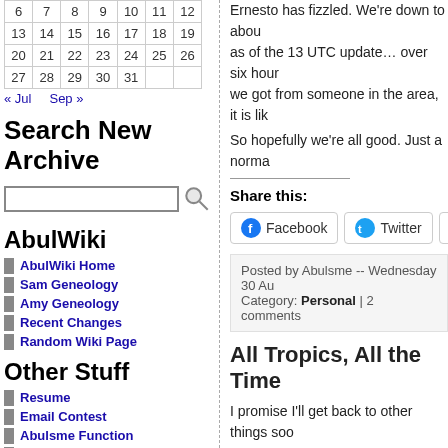| 6 | 7 | 8 | 9 | 10 | 11 | 12 |
| 13 | 14 | 15 | 16 | 17 | 18 | 19 |
| 20 | 21 | 22 | 23 | 24 | 25 | 26 |
| 27 | 28 | 29 | 30 | 31 |  |  |
« Jul   Sep »
Search New Archive
AbulWiki
AbulWiki Home
Sam Geneology
Amy Geneology
Recent Changes
Random Wiki Page
Other Stuff
Resume
Email Contest
Abulsme Function
Old Pictures
The Person
Ernesto has fizzled. We're down to abou... as of the 13 UTC update… over six hour... we got from someone in the area, it is lik...
So hopefully we're all good. Just a norma...
Share this:
Facebook   Twitter   Reddi...
Posted by Abulsme -- Wednesday 30 Au... Category: Personal | 2 comments
All Tropics, All the Time
I promise I'll get back to other things soo...
Here is the latest NHC update of the odd...
[Figure (map): NHC weather map showing orange and green colored regions with geographic boundaries]